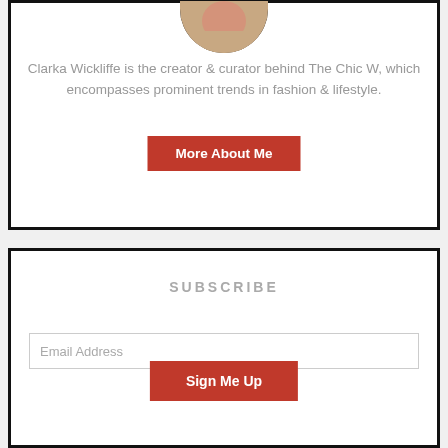[Figure (photo): Circular cropped profile photo of Clarka Wickliffe, partially visible at top of card]
Clarka Wickliffe is the creator & curator behind The Chic W, which encompasses prominent trends in fashion & lifestyle.
More About Me
SUBSCRIBE
Email Address
Sign Me Up